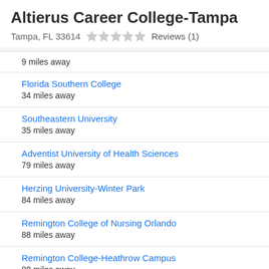Altierus Career College-Tampa
Tampa, FL 33614   ★☆☆☆☆   Reviews (1)
9 miles away
Florida Southern College
34 miles away
Southeastern University
35 miles away
Adventist University of Health Sciences
79 miles away
Herzing University-Winter Park
84 miles away
Remington College of Nursing Orlando
88 miles away
Remington College-Heathrow Campus
88 miles away
Bethune-Cookman University
122 miles away